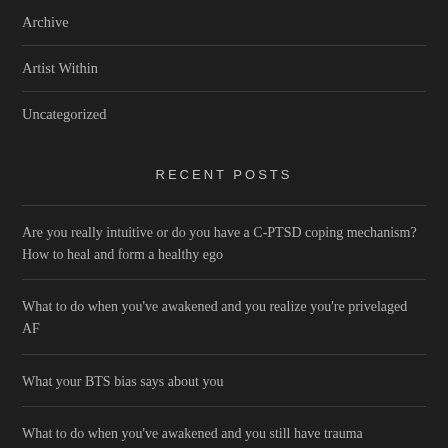Archive
Artist Within
Uncategorized
RECENT POSTS
Are you really intuitive or do you have a C-PTSD coping mechanism? How to heal and form a healthy ego
What to do when you've awakened and you realize you're privelaged AF
What your BTS bias says about you
What to do when you've awakened and you still have trauma
MNL MAGICK: Mystic Magick Podcast